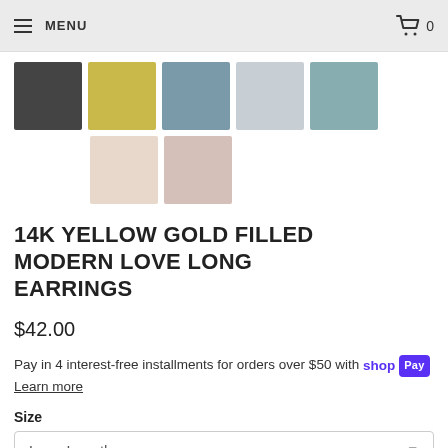MENU  [cart icon] 0
[Figure (photo): Seven product thumbnail images of earrings shown on models and flat lay, arranged in two rows]
14K YELLOW GOLD FILLED MODERN LOVE LONG EARRINGS
$42.00
Pay in 4 interest-free installments for orders over $50 with shop Pay  Learn more
Size
Long Length